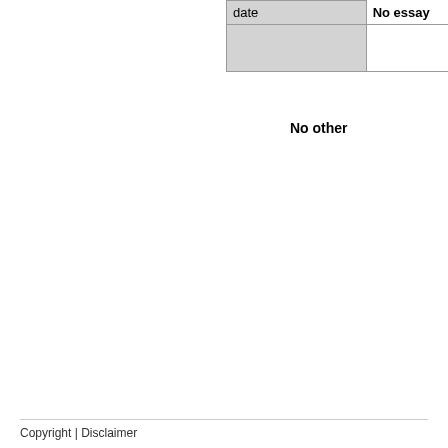| date | No essay |
| --- | --- |
|  |  |
No other
Copyright | Disclaimer